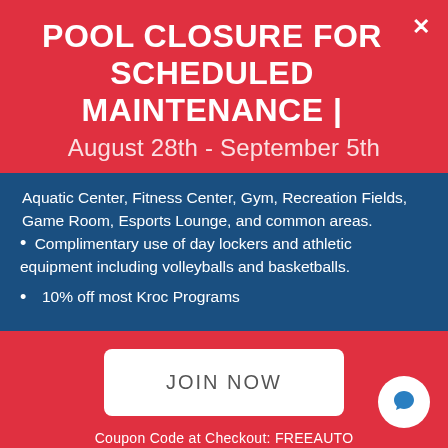POOL CLOSURE FOR SCHEDULED MAINTENANCE
August 28th - September 5th
Aquatic Center, Fitness Center, Gym, Recreation Fields, Game Room, Esports Lounge, and common areas.
Complimentary use of day lockers and athletic equipment including volleyballs and basketballs.
10% off most Kroc Programs
JOIN NOW
Coupon Code at Checkout: FREEAUTO